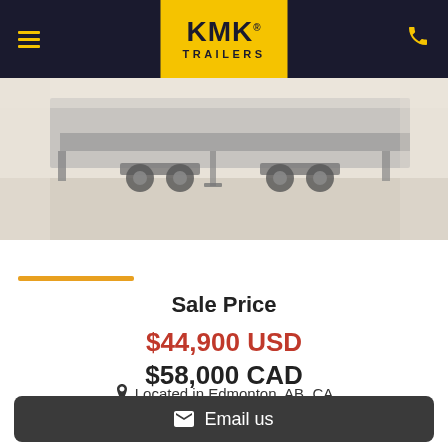KMK TRAILERS
[Figure (photo): Partial view of a flatbed/utility trailer parked on gravel, showing wheels and frame, light background.]
Sale Price
$44,900 USD
$58,000 CAD
Located in Edmonton, AB, CA
Email us